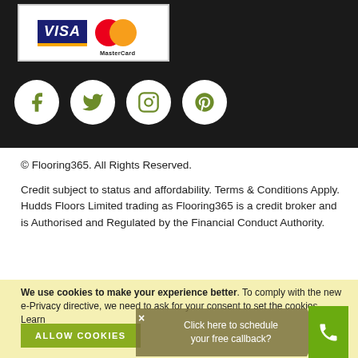[Figure (logo): Visa and MasterCard payment logos]
[Figure (infographic): Social media icons: Facebook, Twitter, Instagram, Pinterest in white circles on black background]
© Flooring365. All Rights Reserved.
Credit subject to status and affordability. Terms & Conditions Apply. Hudds Floors Limited trading as Flooring365 is a credit broker and is Authorised and Regulated by the Financial Conduct Authority.
We use cookies to make your experience better. To comply with the new e-Privacy directive, we need to ask for your consent to set the cookies. Learn
Click here to schedule your free callback?
ALLOW COOKIES